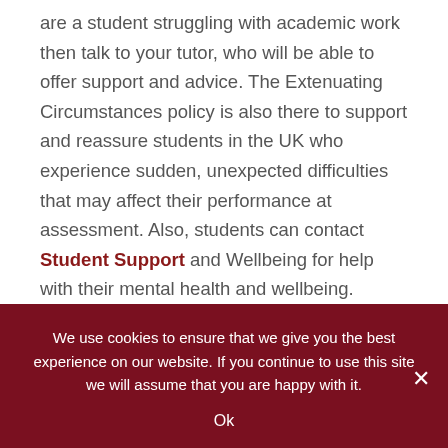are a student struggling with academic work then talk to your tutor, who will be able to offer support and advice. The Extenuating Circumstances policy is also there to support and reassure students in the UK who experience sudden, unexpected difficulties that may affect their performance at assessment. Also, students can contact Student Support and Wellbeing for help with their mental health and wellbeing.
Financial support for Ukrainian students
We use cookies to ensure that we give you the best experience on our website. If you continue to use this site we will assume that you are happy with it.
Ok